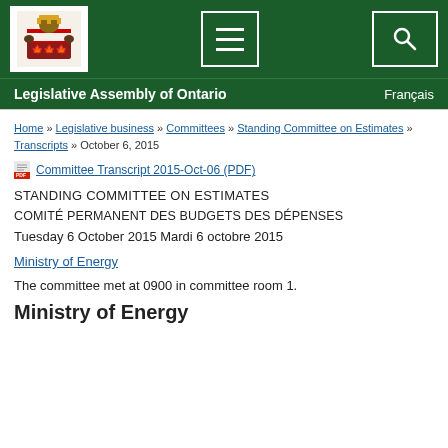Legislative Assembly of Ontario | Français
Home » Legislative business » Committees » Standing Committee on Estimates » Transcripts » October 6, 2015
Committee Transcript 2015-Oct-06 (PDF)
STANDING COMMITTEE ON ESTIMATES
COMITÉ PERMANENT DES BUDGETS DES DÉPENSES
Tuesday 6 October 2015 Mardi 6 octobre 2015
Ministry of Energy
The committee met at 0900 in committee room 1.
Ministry of Energy